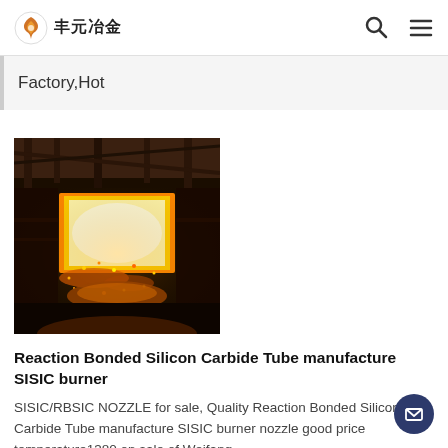丰元冶金
Factory,Hot
[Figure (photo): Industrial furnace/smelting facility with molten metal sparks and glowing fire inside a large industrial building]
Reaction Bonded Silicon Carbide Tube manufacture SISIC burner
SISIC/RBSIC NOZZLE for sale, Quality Reaction Bonded Silicon Carbide Tube manufacture SISIC burner nozzle good price temperature1380 on sale of Weifang